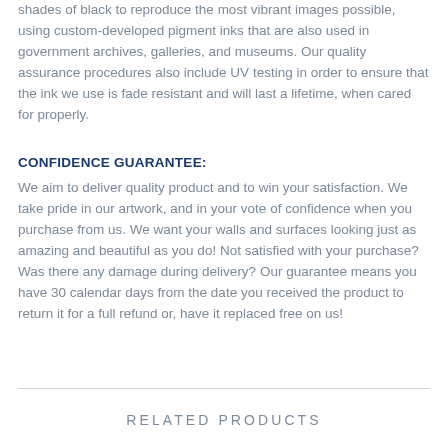shades of black to reproduce the most vibrant images possible, using custom-developed pigment inks that are also used in government archives, galleries, and museums. Our quality assurance procedures also include UV testing in order to ensure that the ink we use is fade resistant and will last a lifetime, when cared for properly.
CONFIDENCE GUARANTEE:
We aim to deliver quality product and to win your satisfaction. We take pride in our artwork, and in your vote of confidence when you purchase from us. We want your walls and surfaces looking just as amazing and beautiful as you do! Not satisfied with your purchase? Was there any damage during delivery? Our guarantee means you have 30 calendar days from the date you received the product to return it for a full refund or, have it replaced free on us!
RELATED PRODUCTS